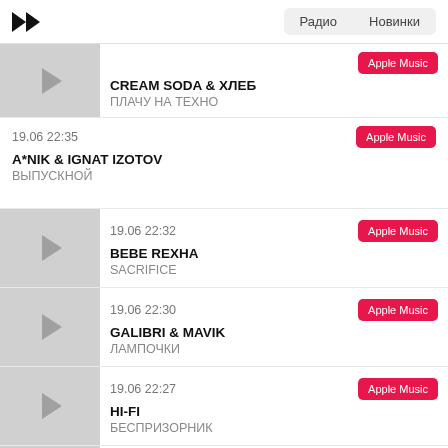Радио  Новинки
CREAM SODA & ХЛЕБ — ПЛАЧУ НА ТЕХНО
19.06 22:35 — A*NIK & IGNAT IZOTOV — ВЫПУСКНОЙ
19.06 22:32 — BEBE REXHA — SACRIFICE
19.06 22:30 — GALIBRI & MAVIK — ЛАМПОЧКИ
19.06 22:27 — HI-FI — БЕСПРИЗОРНИК